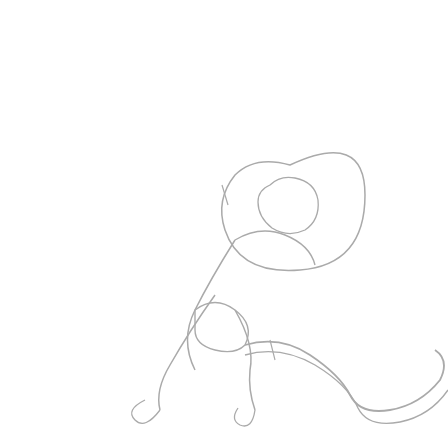[Figure (illustration): A minimalist line drawing of a human figure in a dynamic running or crawling pose. The figure has a round head with a teardrop-shaped eye, a curved torso, and legs that trail off into a wavy serpentine line extending to the lower right. The drawing is done in thin gray outlines on a white background.]